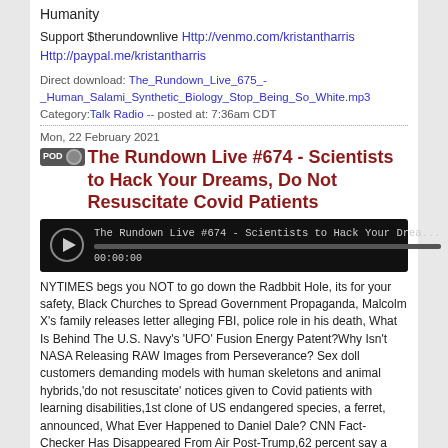Humanity
Support $therundownlive Http://venmo.com/kristantharris Http://paypal.me/kristantharris
Direct download: The_Rundown_Live_675_-_Human_Salami_Synthetic_Biology_Stop_Being_So_White.mp3
Category: Talk Radio -- posted at: 7:36am CDT
Mon, 22 February 2021
The Rundown Live #674 - Scientists to Hack Your Dreams, Do Not Resuscitate Covid Patients
[Figure (screenshot): Audio player showing The Rundown Live #674 - Scientists to Hack Your Drea... with play button, progress bar, and timestamp 00:00:00]
NYTIMES begs you NOT to go down the Radbbit Hole, its for your safety, Black Churches to Spread Government Propaganda, Malcolm X's family releases letter alleging FBI, police role in his death, What Is Behind The U.S. Navy's 'UFO' Fusion Energy Patent?Why Isn't NASA Releasing RAW Images from Perseverance? Sex doll customers demanding models with human skeletons and animal hybrids,'do not resuscitate' notices given to Covid patients with learning disabilities,1st clone of US endangered species, a ferret, announced, What Ever Happened to Daniel Dale? CNN Fact-Checker Has Disappeared From Air Post-Trump,62 percent say a third political party is needed, latest nationwide survey says,COVID-19 detector dogs hunt coronavirus on college campus.
Support